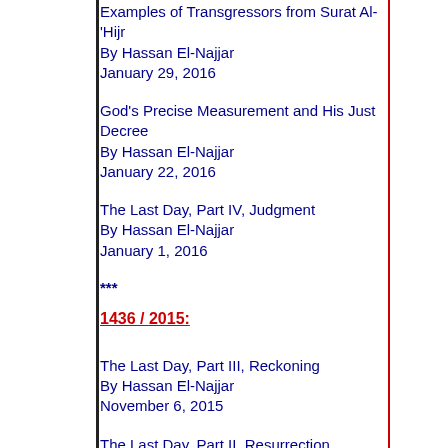Examples of Transgressors from Surat Al-'Hijr
By Hassan El-Najjar
January 29, 2016
God's Precise Measurement and His Just Decree
By Hassan El-Najjar
January 22, 2016
The Last Day, Part IV, Judgment
By Hassan El-Najjar
January 1, 2016
***
1436 / 2015:
The Last Day, Part III, Reckoning
By Hassan El-Najjar
November 6, 2015
The Last Day, Part II, Resurrection
By Hassan El-Najjar
October 2, 2015